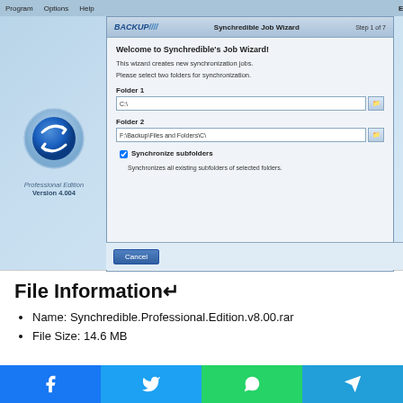[Figure (screenshot): Synchredible Job Wizard application screenshot showing Step 1 of 7 with Folder 1 and Folder 2 input fields, Synchronize subfolders checkbox, and Cancel button. Left panel shows Professional Edition Version 4.004 logo with blue sync arrows icon.]
File Information↵
Name: Synchredible.Professional.Edition.v8.00.rar
File Size: 14.6 MB